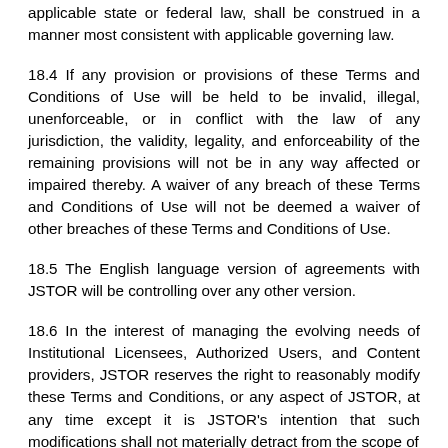applicable state or federal law, shall be construed in a manner most consistent with applicable governing law.
18.4 If any provision or provisions of these Terms and Conditions of Use will be held to be invalid, illegal, unenforceable, or in conflict with the law of any jurisdiction, the validity, legality, and enforceability of the remaining provisions will not be in any way affected or impaired thereby. A waiver of any breach of these Terms and Conditions of Use will not be deemed a waiver of other breaches of these Terms and Conditions of Use.
18.5 The English language version of agreements with JSTOR will be controlling over any other version.
18.6 In the interest of managing the evolving needs of Institutional Licensees, Authorized Users, and Content providers, JSTOR reserves the right to reasonably modify these Terms and Conditions, or any aspect of JSTOR, at any time except it is JSTOR's intention that such modifications shall not materially detract from the scope of